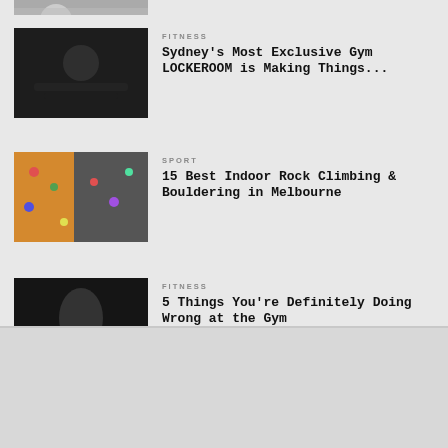[Figure (photo): Partial cropped photo at top of page - appears to be a gym or fitness related image]
FITNESS
Sydney's Most Exclusive Gym LOCKEROOM is Making Things...
[Figure (photo): Indoor gym with person lifting weights / barbell]
SPORT
15 Best Indoor Rock Climbing & Bouldering in Melbourne
[Figure (photo): Indoor rock climbing wall with colorful holds]
FITNESS
5 Things You're Definitely Doing Wrong at the Gym
[Figure (photo): Shirtless muscular man exercising at gym with cable machine]